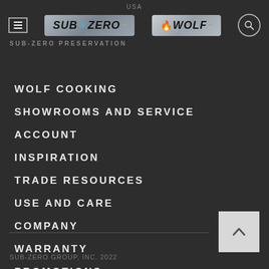USA
[Figure (logo): Sub-Zero and Wolf brand logos with hamburger menu icon and search icon on dark navigation bar. Text below reads SUB-ZERO PRESERVATION.]
WOLF COOKING
SHOWROOMS AND SERVICE
ACCOUNT
INSPIRATION
TRADE RESOURCES
USE AND CARE
COMPANY
WARRANTY
PROMOTIONS
PRIVACY POLICY
TERMS OF USE
SUB-ZERO GROUP, INC. 2022